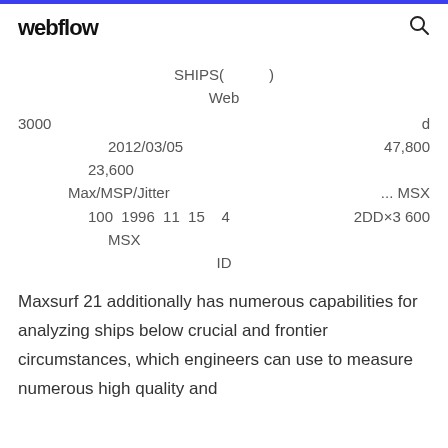webflow
SHIPS(　　)
Web
3000　　　　　　　　　　　　　　　　　　　　　d
2012/03/05　　　　　47,800
23,600
Max/MSP/Jitter　　　　　　　　　　... MSX
100  1996  11  15    4          2DD×3  600
MSX
ID
Maxsurf 21 additionally has numerous capabilities for analyzing ships below crucial and frontier circumstances, which engineers can use to measure numerous high quality and